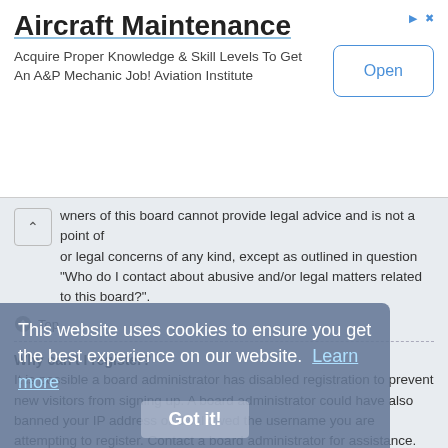[Figure (screenshot): Advertisement banner for Aircraft Maintenance course. Title: 'Aircraft Maintenance'. Subtitle: 'Acquire Proper Knowledge & Skill Levels To Get An A&P Mechanic Job! Aviation Institute'. Button: 'Open'.]
owners of this board cannot provide legal advice and is not a point of or legal concerns of any kind, except as outlined in question “Who do I contact about abusive and/or legal matters related to this board?”.
Top
Why can’t I register?
It is possible a board administrator has disabled registration to prevent new visitors from signing up. A board administrator could have also banned your IP address or disallowed the username you are attempting to register. Contact a board administrator for assistance.
Top
I registered, but cannot login!
First, check your username and password. If they are correct, then one of two things may have happened. If COPPA support is enabled and you specified being under 13 years old during registration, you will have to follow the instructions you received. Some boards will also require new registrations to be activated, either by yourself or by an administrator before you can logon; this information was present during registration. If you were sent an email, follow the
This website uses cookies to ensure you get the best experience on our website. Learn more
Got it!